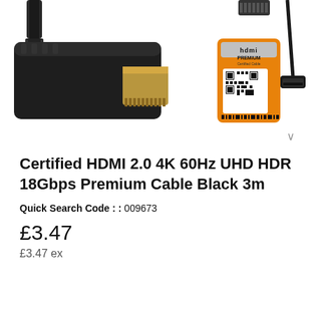[Figure (photo): Product photo of a black HDMI cable connector with gold-plated tip, an HDMI Premium Certified Cable authentication card/sticker (orange with QR code), and a micro HDMI cable end. Multiple product angles shown against white background.]
Certified HDMI 2.0 4K 60Hz UHD HDR 18Gbps Premium Cable Black 3m
Quick Search Code : : 009673
£3.47
£3.47 ex